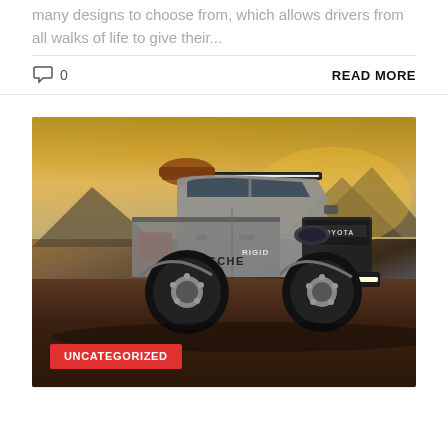many designs to choose from, which allows drivers from all walks of life to give their...
0
READ MORE
[Figure (photo): A modified Toyota Tacoma truck (Scosche/Rigid branded) with a rooftop rack, LED light bar on roof, LED light bar on front bumper, off-road tires, parked in a desert landscape at sunset with mountains in background. An UNCATEGORIZED red badge overlays the bottom-left corner.]
UNCATEGORIZED